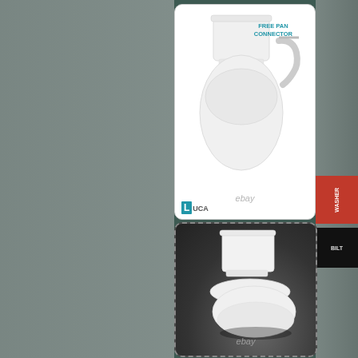[Figure (photo): Product listing image showing a white ceramic toilet suite (cistern and pan) from front/side, with a flexible pan connector shown separately. Text reads 'FREE PAN CONNECTOR'. eBay watermark visible. Luca brand logo shown at bottom left. Image has white background with rounded dotted border.]
[Figure (photo): Product listing image showing a white ceramic close-coupled toilet suite (cistern and pan) photographed from a 3/4 angle on a dark background. eBay watermark visible. Image has dark/charcoal background with rounded dotted dashed border.]